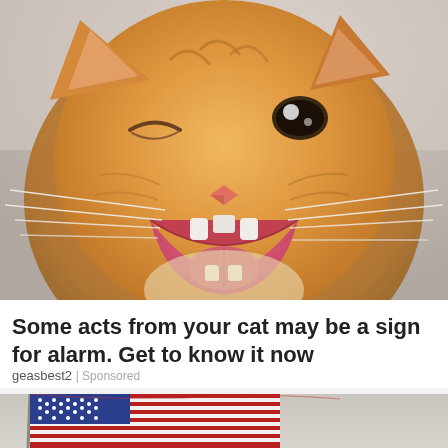[Figure (photo): Close-up photo of an orange tabby cat with mouth wide open, appearing to yawn or meow, with whiskers visible and one eye squinting, against a blurred light background.]
Some acts from your cat may be a sign for alarm. Get to know it now
geasbest2 | Sponsored
[Figure (photo): Photo of an American flag waving against a grey sky background, partially cropped at the bottom of the page.]